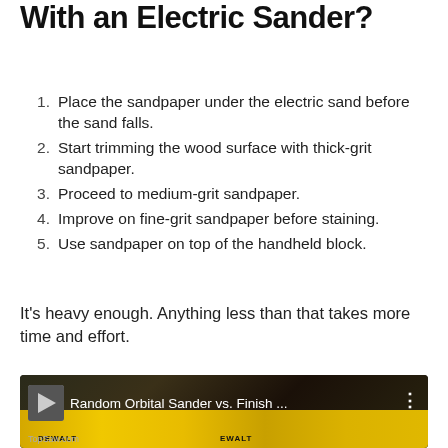With an Electric Sander?
Place the sandpaper under the electric sand before the sand falls.
Start trimming the wood surface with thick-grit sandpaper.
Proceed to medium-grit sandpaper.
Improve on fine-grit sandpaper before staining.
Use sandpaper on top of the handheld block.
It's heavy enough. Anything less than that takes more time and effort.
[Figure (screenshot): YouTube video thumbnail showing two yellow DeWalt electric sanders with title 'Random Orbital Sander vs. Finish ...' and a three-dot menu icon]